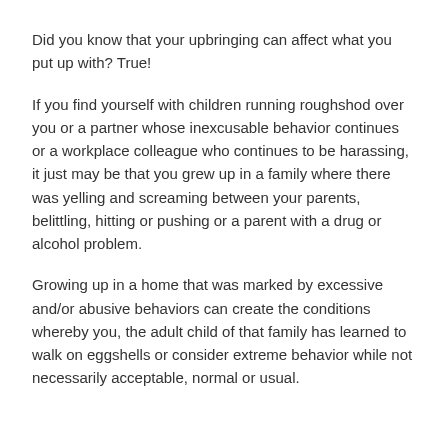Did you know that your upbringing can affect what you put up with? True!
If you find yourself with children running roughshod over you or a partner whose inexcusable behavior continues or a workplace colleague who continues to be harassing, it just may be that you grew up in a family where there was yelling and screaming between your parents, belittling, hitting or pushing or a parent with a drug or alcohol problem.
Growing up in a home that was marked by excessive and/or abusive behaviors can create the conditions whereby you, the adult child of that family has learned to walk on eggshells or consider extreme behavior while not necessarily acceptable, normal or usual.